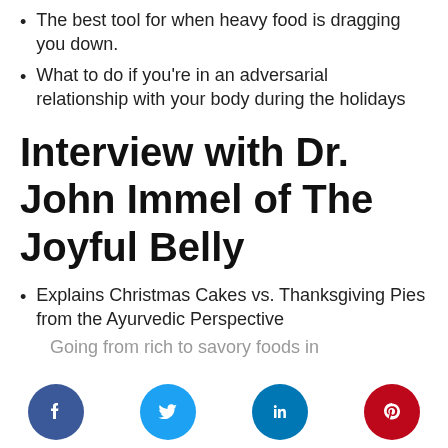The best tool for when heavy food is dragging you down.
What to do if you’re in an adversarial relationship with your body during the holidays
Interview with Dr. John Immel of The Joyful Belly
Explains Christmas Cakes vs. Thanksgiving Pies from the Ayurvedic Perspective
Going from rich to savory foods in